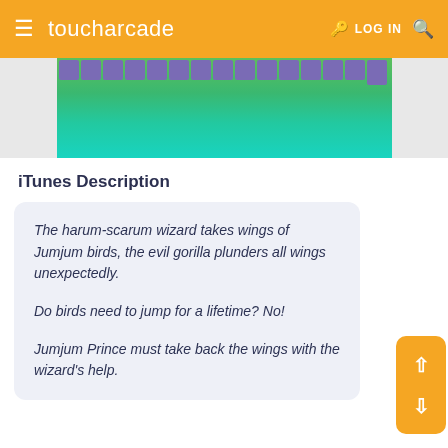toucharcade  LOG IN
[Figure (screenshot): Game screenshot showing a platformer with purple blocks and green/teal background]
iTunes Description
The harum-scarum wizard takes wings of Jumjum birds, the evil gorilla plunders all wings unexpectedly.

Do birds need to jump for a lifetime? No!

Jumjum Prince must take back the wings with the wizard's help.